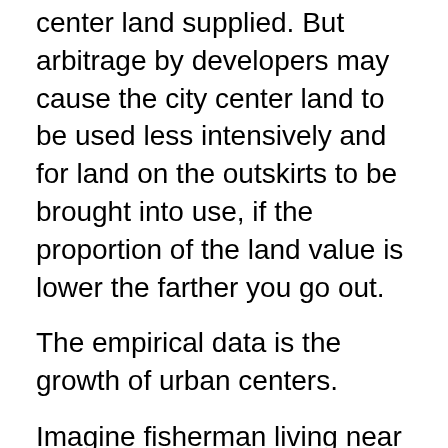center land supplied. But arbitrage by developers may cause the city center land to be used less intensively and for land on the outskirts to be brought into use, if the proportion of the land value is lower the farther you go out.
The empirical data is the growth of urban centers.
Imagine fisherman living near the coast. They all work on the coast. Our city is a half-line, with the coast at the origin. The utility from renting a house at position x = log(housing consumed) - x. The marginal disutility of